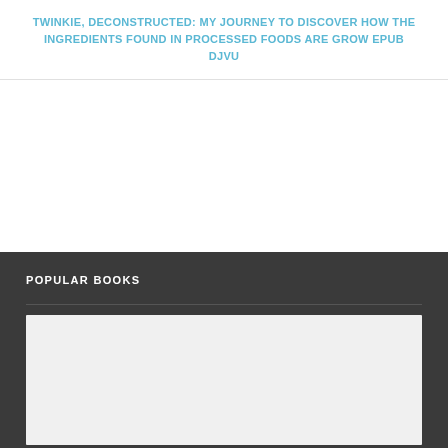TWINKIE, DECONSTRUCTED: MY JOURNEY TO DISCOVER HOW THE INGREDIENTS FOUND IN PROCESSED FOODS ARE GROW EPUB DJVU
POPULAR BOOKS
[Figure (other): Light gray content placeholder box in the Popular Books section]